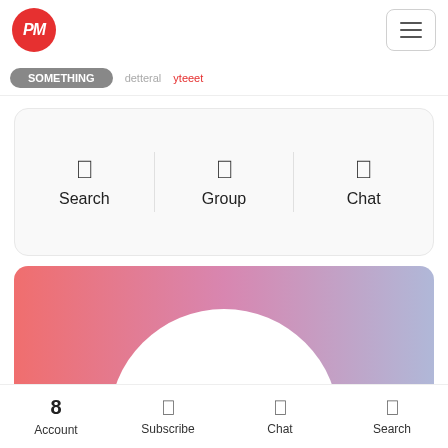[Figure (screenshot): App top bar with red circular PM logo on the left and hamburger menu button on the right]
[Figure (screenshot): Tab navigation bar with active dark pill tab and inactive text tabs]
[Figure (screenshot): Quick action card with Search, Group, and Chat options]
[Figure (screenshot): Gradient banner with pink-to-lavender gradient and large white circle cutout]
[Figure (screenshot): Bottom navigation bar with Account, Subscribe, Chat, and Search items]